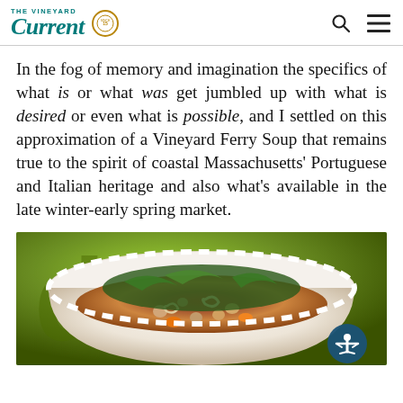The Vineyard Current
In the fog of memory and imagination the specifics of what is or what was get jumbled up with what is desired or even what is possible, and I settled on this approximation of a Vineyard Ferry Soup that remains true to the spirit of coastal Massachusetts’ Portuguese and Italian heritage and also what’s available in the late winter-early spring market.
[Figure (photo): A white scalloped bowl filled with Vineyard Ferry Soup containing pasta, chickpeas, carrots, and greens, set on a green background.]